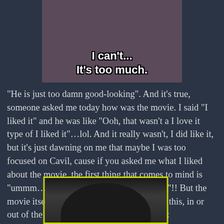[Figure (photo): Meme image of a nun with overlaid white bold text reading 'I can't... It's too much.']
“He is just too damn good-looking”.  And it’s true, someone asked me today how was the movie.  I said “I liked it” and he was like “Ooh, that wasn’t a I love it type of I liked it”…lol.  And it really wasn’t, I did like it, but it’s just dawning on me that maybe I was too focused on Cavil, cause if you asked me what I liked about the movie, the first thing that comes to mind is “ummm… Henry Cavil was pretty darn hot”!!  But the movie itself was good, but come on look at this, in or out of the suit, the dude is pretty georgeous:
[Figure (photo): Photo of a man (Henry Cavill) with dark curly hair, shown from shoulders up, inside a yellow-green border frame.]